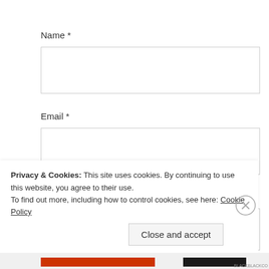Name *
[Figure (other): Empty text input field for Name]
Email *
[Figure (other): Empty text input field for Email]
Website
[Figure (other): Empty text input field for Website]
Privacy & Cookies:  This site uses cookies. By continuing to use this website, you agree to their use.
To find out more, including how to control cookies, see here: Cookie Policy
Close and accept